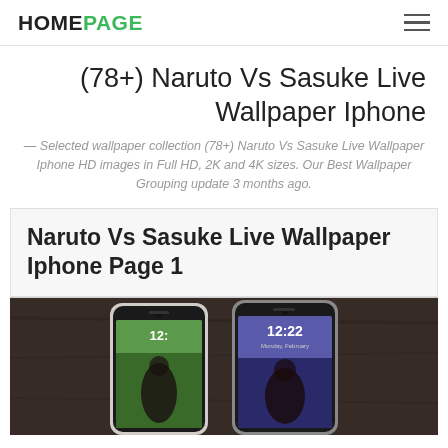HOMEPAGE
(78+) Naruto Vs Sasuke Live Wallpaper Iphone
— Selected wallpaper collection (78+) Naruto Vs Sasuke Live Wallpaper Iphone HD images in Full HD, 2K and 4K sizes. Our Best Wallpaper Grouping update 3 months ago.
Naruto Vs Sasuke Live Wallpaper Iphone Page 1
[Figure (photo): Two smartphones side by side on a dark wooden surface, each displaying lock screens showing 12:22 time, with Naruto/Sasuke themed wallpapers visible on the screens.]